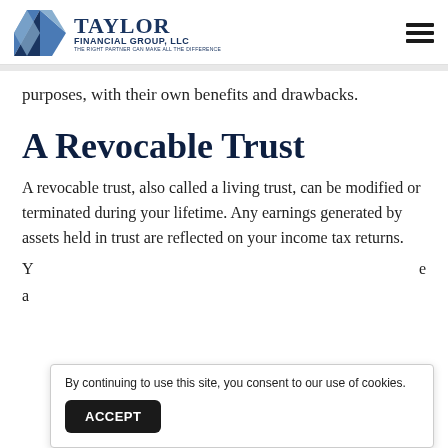Taylor Financial Group, LLC — The Right Partner Can Make All The Difference
purposes, with their own benefits and drawbacks.
A Revocable Trust
A revocable trust, also called a living trust, can be modified or terminated during your lifetime. Any earnings generated by assets held in trust are reflected on your income tax returns.
By continuing to use this site, you consent to our use of cookies.